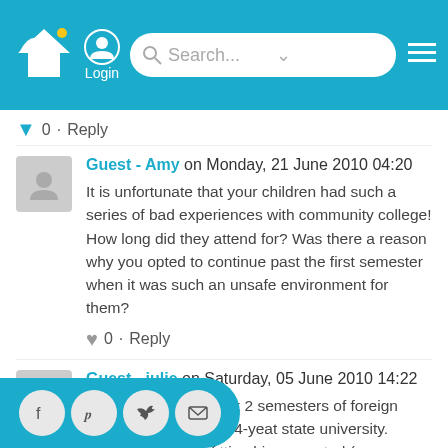Login | Search...
0 · Reply
Guest - Amy on Monday, 21 June 2010 04:20
It is unfortunate that your children had such a series of bad experiences with community college! How long did they attend for? Was there a reason why you opted to continue past the first semester when it was such an unsafe environment for them?
0 · Reply
Guest - julie on Saturday, 05 June 2010 14:22
At age 15 my son took 2 semesters of foreign language at our local 4-yeat state university. There were a lot of ... getting him accepted (as a non-... nt) but it has been an excellent ... He says he feels he has finally found